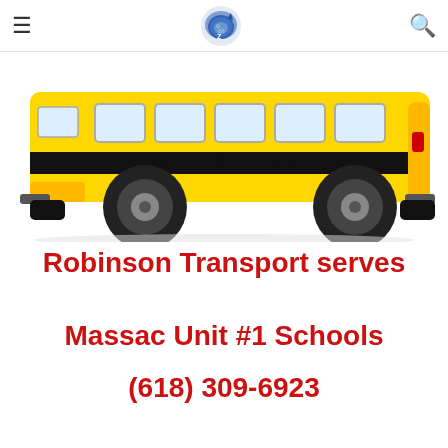≡ [Lion mascot logo] 🔍
[Figure (illustration): A yellow school bus illustration with black text 'SCHOOL BUS' on the side, viewed from the side, with windows, two large black wheels, and a red rear light.]
Robinson Transport serves Massac Unit #1 Schools
(618) 309-6923